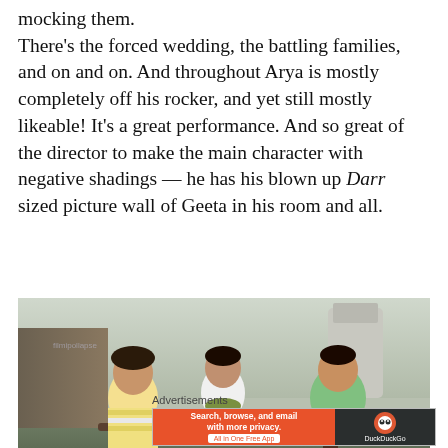mocking them.
There’s the forced wedding, the battling families, and on and on.  And throughout Arya is mostly completely off his rocker, and yet still mostly likeable!  It’s a great performance.  And so great of the director to make the main character with negative shadings — he has his blown up Darr sized picture wall of Geeta in his room and all.
[Figure (photo): Three young people (two men and a woman) sitting outdoors laughing and smiling, with stone walls and a cylindrical tower in the background. The man on the left wears a yellow and white striped shirt, the woman in the middle wears a white top with a green scarf, and the man on the right wears a green polo shirt.]
Advertisements
[Figure (other): DuckDuckGo advertisement banner: orange section with bold white text 'Search, browse, and email with more privacy. All in One Free App' and dark section with DuckDuckGo logo and text.]